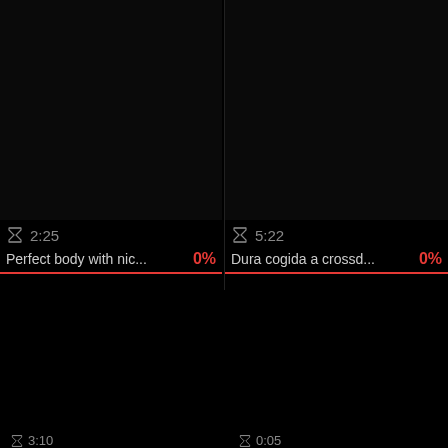[Figure (screenshot): Video thumbnail black area top-left]
⌛ 2:25
Perfect body with nic...  0%
[Figure (screenshot): Video thumbnail black area top-right]
⌛ 5:22
Dura cogida a crossd...  0%